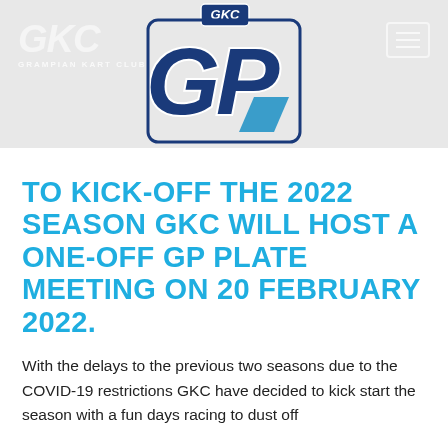[Figure (logo): GKC GP logo — Grampian Kart Club GP plate logo with large stylized 'GP' letters in dark navy/blue with white outline, and 'GKC' text above in a shield-like emblem. Also includes faint 'GKC' watermark text and 'GRAMPIAN KART CLUB' subtext on the left in the grey header bar, plus a hamburger menu icon on the right.]
TO KICK-OFF THE 2022 SEASON GKC WILL HOST A ONE-OFF GP PLATE MEETING ON 20 FEBRUARY 2022.
With the delays to the previous two seasons due to the COVID-19 restrictions GKC have decided to kick start the season with a fun days racing to dust off